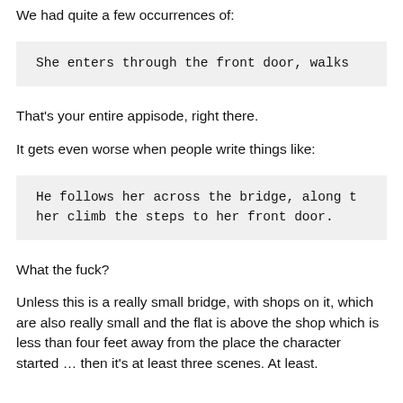We had quite a few occurrences of:
She enters through the front door, walks
That's your entire appisode, right there.
It gets even worse when people write things like:
He follows her across the bridge, along t
her climb the steps to her front door.
What the fuck?
Unless this is a really small bridge, with shops on it, which are also really small and the flat is above the shop which is less than four feet away from the place the character started … then it's at least three scenes. At least.